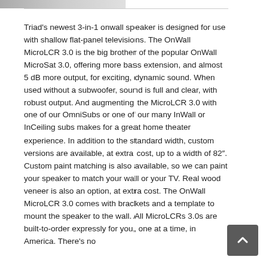Triad's newest 3-in-1 onwall speaker is designed for use with shallow flat-panel televisions. The OnWall MicroLCR 3.0 is the big brother of the popular OnWall MicroSat 3.0, offering more bass extension, and almost 5 dB more output, for exciting, dynamic sound. When used without a subwoofer, sound is full and clear, with robust output. And augmenting the MicroLCR 3.0 with one of our OmniSubs or one of our many InWall or InCeiling subs makes for a great home theater experience. In addition to the standard width, custom versions are available, at extra cost, up to a width of 82". Custom paint matching is also available, so we can paint your speaker to match your wall or your TV. Real wood veneer is also an option, at extra cost. The OnWall MicroLCR 3.0 comes with brackets and a template to mount the speaker to the wall. All MicroLCRs 3.0s are built-to-order expressly for you, one at a time, in America. There's no